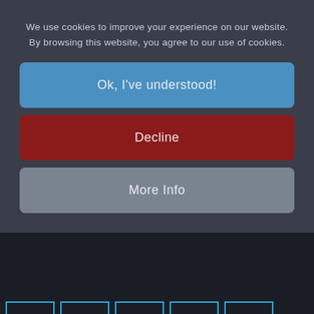We use cookies to improve your experience on our website. By browsing this website, you agree to our use of cookies.
Ok, I've understood!
Decline
More Info
[Figure (other): Social share icon buttons for Twitter, LinkedIn, Pinterest, Reddit, and Email with cyan borders on dark background]
Discuss this article